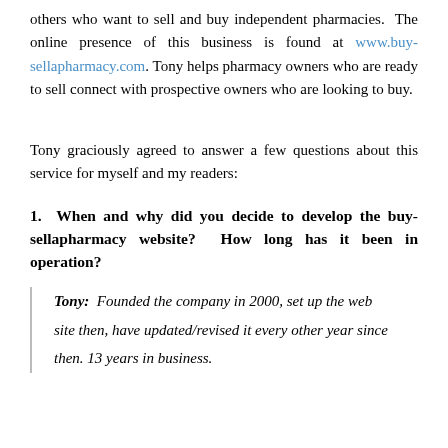others who want to sell and buy independent pharmacies. The online presence of this business is found at www.buy-sellapharmacy.com. Tony helps pharmacy owners who are ready to sell connect with prospective owners who are looking to buy.
Tony graciously agreed to answer a few questions about this service for myself and my readers:
1. When and why did you decide to develop the buy-sellapharmacy website? How long has it been in operation?
Tony: Founded the company in 2000, set up the web site then, have updated/revised it every other year since then. 13 years in business.